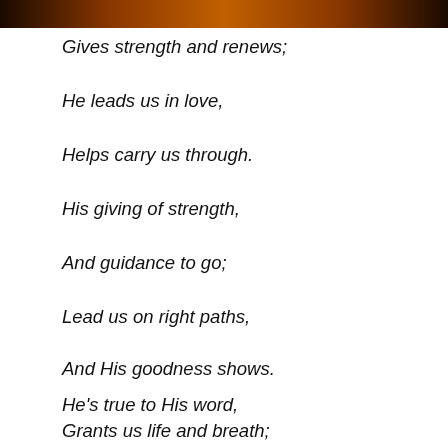[Figure (photo): Dark orange and brown image banner at the top of the page]
Gives strength and renews;
He leads us in love,
Helps carry us through.
His giving of strength,
And guidance to go;
Lead us on right paths,
And His goodness shows.
He's true to His word,
Grants us life and breath;